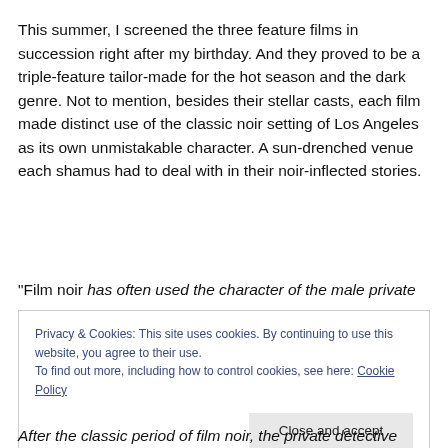This summer, I screened the three feature films in succession right after my birthday. And they proved to be a triple-feature tailor-made for the hot season and the dark genre. Not to mention, besides their stellar casts, each film made distinct use of the classic noir setting of Los Angeles as its own unmistakable character. A sun-drenched venue each shamus had to deal with in their noir-inflected stories.
“Film noir has often used the character of the male private
Privacy & Cookies: This site uses cookies. By continuing to use this website, you agree to their use.
To find out more, including how to control cookies, see here: Cookie Policy
Close and accept
After the classic period of film noir, the private detective